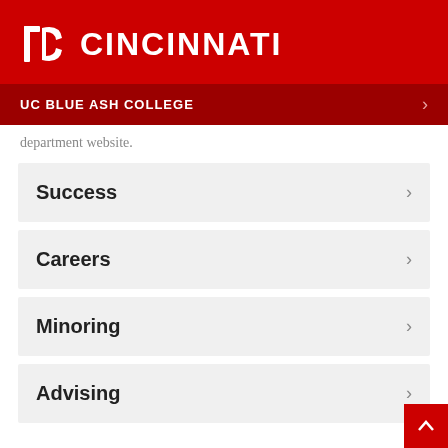[Figure (logo): University of Cincinnati logo — UC torch icon and CINCINNATI wordmark in white on red background]
UC BLUE ASH COLLEGE
department website.
Success
Careers
Minoring
Advising